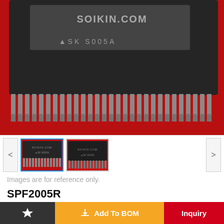[Figure (photo): Close-up photo of an IC chip (SPF2005R / SK S005A) in SSOP package mounted on a red PCB, showing the top of the black chip body with silver pins along the bottom edge.]
[Figure (photo): Thumbnail 1: IC chip on red PCB, front view with pins visible — selected (blue border).]
[Figure (photo): Thumbnail 2: IC chip on red PCB, slightly different angle.]
Images are for reference only.
SPF2005R
Integrated Circuits (ICs) SSOP
| Manufacturer : |
| --- |
| Sanken Electric Co., Ltd. |